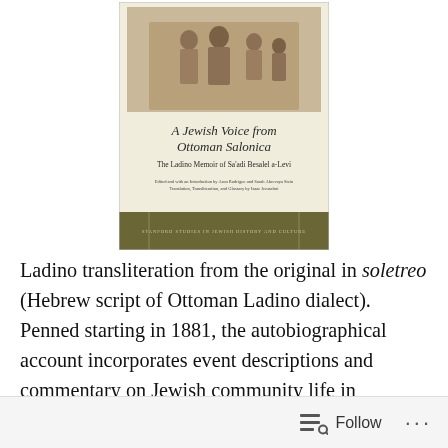[Figure (illustration): Book cover of 'A Jewish Voice from Ottoman Salonica: The Ladino Memoir of Sa'adi Besalel a-Levi'. Cover shows a sepia-toned photograph of a group of people at the top, title text in italic serif font, subtitle, editor/translator credits, and a dark olive/brown banner at the bottom with series text.]
Ladino transliteration from the original in soletreo (Hebrew script of Ottoman Ladino dialect). Penned starting in 1881, the autobiographical account incorporates event descriptions and commentary on Jewish community life in Salonica (now Thessaloniki, Greece). Sa'adi's motivations for writing his memoirs included a desire to record customs and events for future generations, and to voice
Follow ···